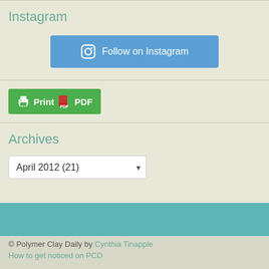Instagram
[Figure (other): Follow on Instagram button with Instagram icon]
[Figure (other): Print / PDF green button with printer icon]
Archives
[Figure (other): Archives dropdown selector showing April 2012 (21)]
© Polymer Clay Daily by Cynthia Tinapple
How to get noticed on PCD